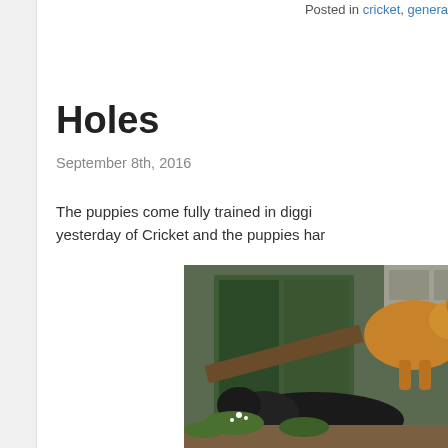Posted in cricket, general
Holes
September 8th, 2016
The puppies come fully trained in digging holes. I took some photos yesterday of Cricket and the puppies har...
[Figure (photo): Two dogs near an old green wooden shed/barn — a golden/brown dog standing and a black dog lying on dirt ground with vegetation and plants around them.]